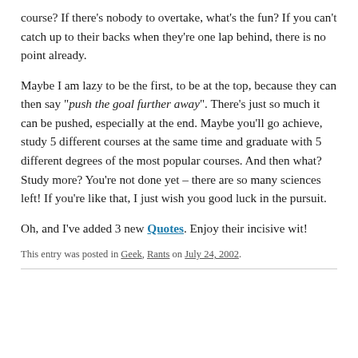course? If there's nobody to overtake, what's the fun? If you can't catch up to their backs when they're one lap behind, there is no point already.
Maybe I am lazy to be the first, to be at the top, because they can then say "push the goal further away". There's just so much it can be pushed, especially at the end. Maybe you'll go achieve, study 5 different courses at the same time and graduate with 5 different degrees of the most popular courses. And then what? Study more? You're not done yet – there are so many sciences left! If you're like that, I just wish you good luck in the pursuit.
Oh, and I've added 3 new Quotes. Enjoy their incisive wit!
This entry was posted in Geek, Rants on July 24, 2002.